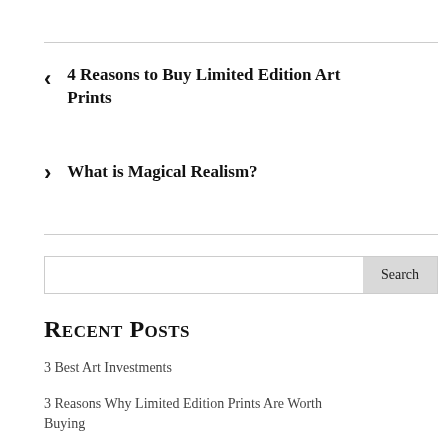< 4 Reasons to Buy Limited Edition Art Prints
> What is Magical Realism?
Search
Recent Posts
3 Best Art Investments
3 Reasons Why Limited Edition Prints Are Worth Buying